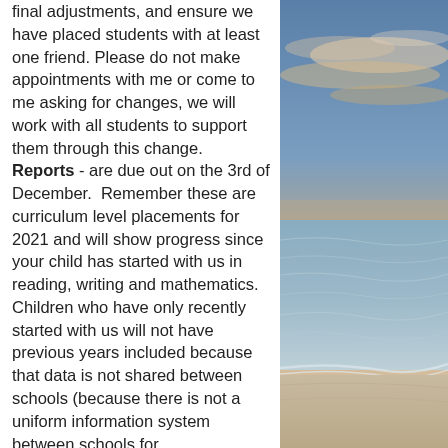final adjustments, and ensure we have placed students with at least one friend. Please do not make appointments with me or come to me asking for changes, we will work with all students to support them through this change. Reports - are due out on the 3rd of December. Remember these are curriculum level placements for 2021 and will show progress since your child has started with us in reading, writing and mathematics. Children who have only recently started with us will not have previous years included because that data is not shared between schools (because there is not a uniform information system between schools for
[Figure (photo): Coastal sunset or sunrise scene with ocean waves, sandy beach, and dramatic sky with clouds and warm orange/blue tones]